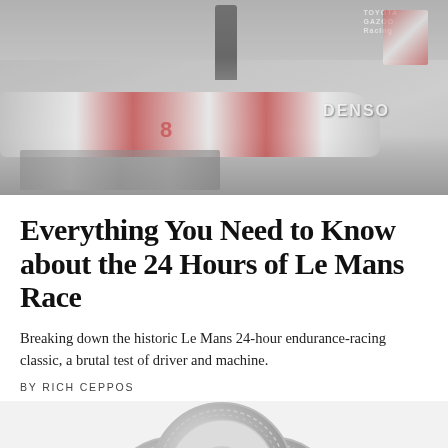[Figure (photo): Race photo showing Le Mans racing car with DENSO and Toyota branding, people standing on car, crowd with cameras in background]
Everything You Need to Know about the 24 Hours of Le Mans Race
Breaking down the historic Le Mans 24-hour endurance-racing classic, a brutal test of driver and machine.
BY RICH CEPPOS
[Figure (photo): Stack of racing tires on white background]